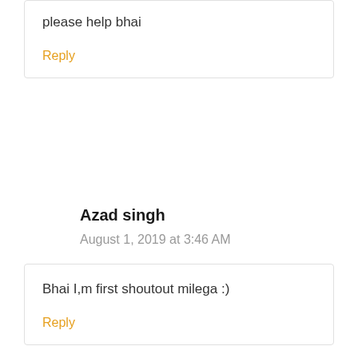please help bhai
Reply
Azad singh
August 1, 2019 at 3:46 AM
Bhai I,m first shoutout milega :)
Reply